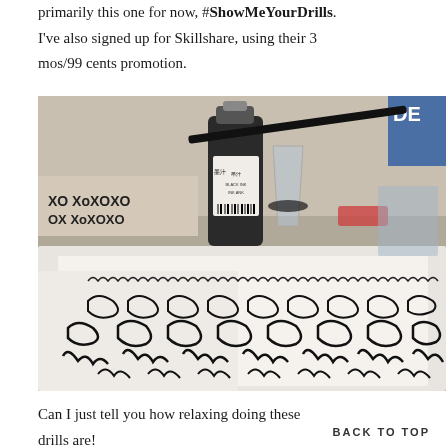primarily this one for now, #ShowMeYourDrills. I've also signed up for Skillshare, using their 3 mos/99 cents promotion.
[Figure (photo): A workspace photo showing calligraphy practice sheets with cursive drills in black ink, a bottle of black ink (Daler Rowney), a plastic cup, and various art supplies on a table. The background shows an X-pattern box.]
Can I just tell you how relaxing doing these drills are!
BACK TO TOP